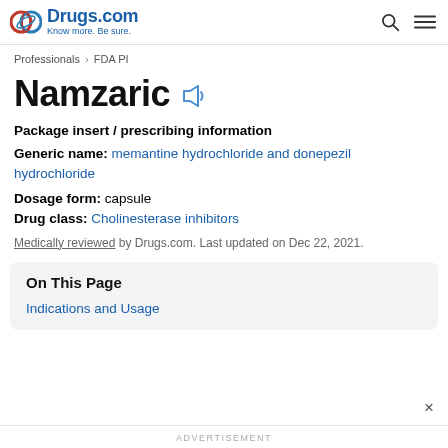Drugs.com — Know more. Be sure.
Professionals > FDA PI
Namzaric
Package insert / prescribing information
Generic name: memantine hydrochloride and donepezil hydrochloride
Dosage form: capsule
Drug class: Cholinesterase inhibitors
Medically reviewed by Drugs.com. Last updated on Dec 22, 2021.
On This Page
Indications and Usage